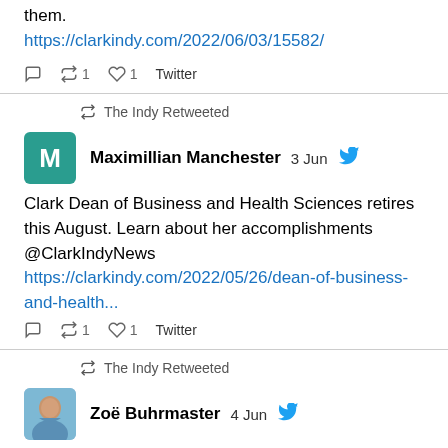them.
https://clarkindy.com/2022/06/03/15582/
reply retweet 1 like 1 Twitter
The Indy Retweeted
Maximillian Manchester  3 Jun
Clark Dean of Business and Health Sciences retires this August. Learn about her accomplishments @ClarkIndyNews https://clarkindy.com/2022/05/26/dean-of-business-and-health...
reply retweet 1 like 1 Twitter
The Indy Retweeted
Zoë Buhrmaster  4 Jun
As @ClarkCollege students prepare to graduate, @ClarkIndyNews sat down